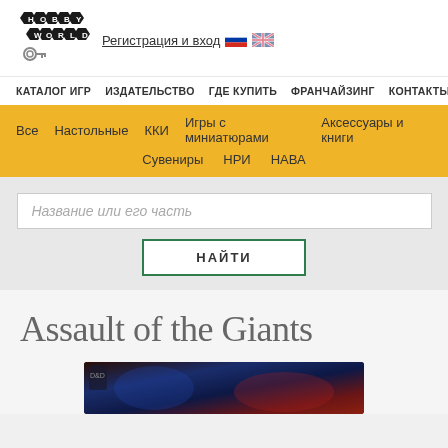[Figure (logo): Hobby World logo with hexagon shapes forming HOBBY WORLD text]
Регистрация и вход
КАТАЛОГ ИГР  ИЗДАТЕЛЬСТВО  ГДЕ КУПИТЬ  ФРАНЧАЙЗИНГ  КОНТАКТЫ
Все  Настольные  ККИ  Игры с миниатюрами  Аксессуары и книги  Сувениры  НРИ  НАВА
Название или его часть
НАЙТИ
Assault of the Giants
[Figure (photo): Product box image for Assault of the Giants board game]